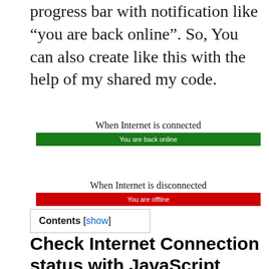progress bar with notification like “you are back online”. So, You can also create like this with the help of my shared my code.
[Figure (screenshot): Screenshot showing 'When Internet is connected' label above a green progress bar with white text 'You are back online']
[Figure (screenshot): Screenshot showing 'When Internet is disconnected' label above a red progress bar with white text 'You are offline']
Contents [show]
Check Internet Connection status with JavaScript